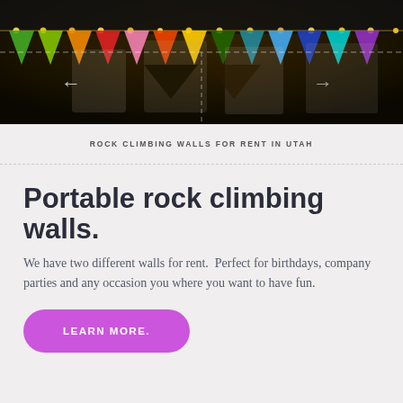[Figure (photo): Nighttime photo of colorful bunting/pennant flags and string lights, likely at an outdoor event with climbing walls in the background. Navigation arrows visible on left and right.]
ROCK CLIMBING WALLS FOR RENT IN UTAH
Portable rock climbing walls.
We have two different walls for rent.  Perfect for birthdays, company parties and any occasion you where you want to have fun.
LEARN MORE.